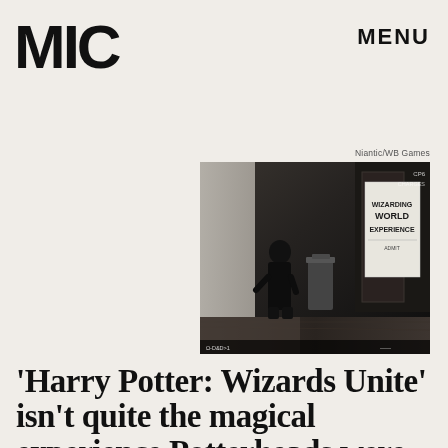MIC
MENU
Niantic/WB Games
[Figure (photo): Screenshot from Harry Potter: Wizards Unite mobile game showing a player character in a dark alley with a Wizarding World Experience sign]
'Harry Potter: Wizards Unite' isn't quite the magical experience Potterheads were hoping for